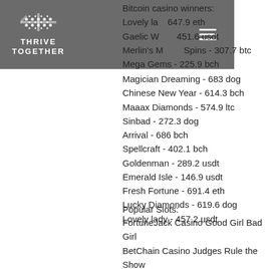[Figure (logo): Thrive Together logo with decorative floral/snowflake icon above text THRIVE TOGETHER on dark grey header bar with hamburger menu icon]
Bitcoin casino winners:
Lovely lady - 647.9 eth
Gaelic Warrior - 451.6 usdt
Merlin's Millions Superbet Spins - 307.7 btc
Mega Gems - 225.9 bch
Magician Dreaming - 683 dog
Chinese New Year - 614.3 bch
Maaax Diamonds - 574.9 ltc
Sinbad - 272.3 dog
Arrival - 686 bch
Spellcraft - 402.1 bch
Goldenman - 289.2 usdt
Emerald Isle - 146.9 usdt
Fresh Fortune - 691.4 eth
Lucky Diamonds - 619.6 dog
Lovely lady - 457.2 usdt
Popular Slots:
FortuneJack Casino Good Girl Bad Girl
BetChain Casino Judges Rule the Show
Oshi Casino Fancy Fruits Chicken Shooter